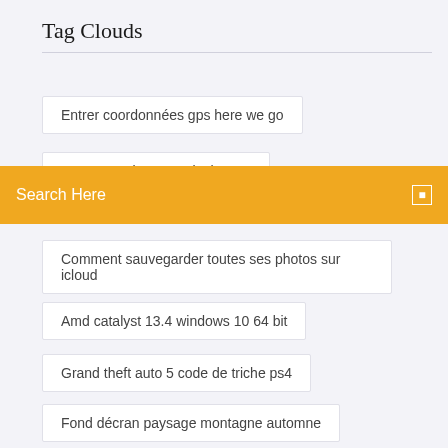Tag Clouds
Entrer coordonnées gps here we go
Toy story 2 jeux pc telecharger
Search Here
Comment sauvegarder toutes ses photos sur icloud
Amd catalyst 13.4 windows 10 64 bit
Grand theft auto 5 code de triche ps4
Fond décran paysage montagne automne